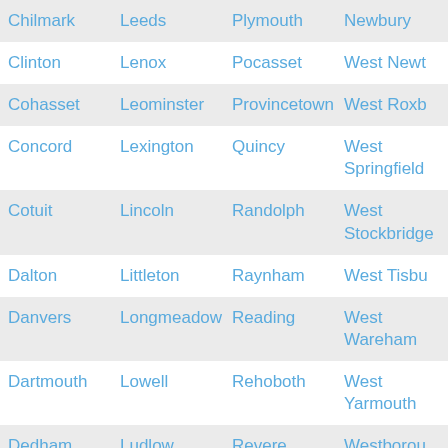| Chilmark | Leeds | Plymouth | Newbury |
| Clinton | Lenox | Pocasset | West Newt… |
| Cohasset | Leominster | Provincetown | West Roxb… |
| Concord | Lexington | Quincy | West Springfield |
| Cotuit | Lincoln | Randolph | West Stockbridge |
| Dalton | Littleton | Raynham | West Tisbu… |
| Danvers | Longmeadow | Reading | West Wareham |
| Dartmouth | Lowell | Rehoboth | West Yarmouth |
| Dedham | Ludlow | Revere | Westborou… |
| Dennis | Lunenburg | Rockland | Westfield |